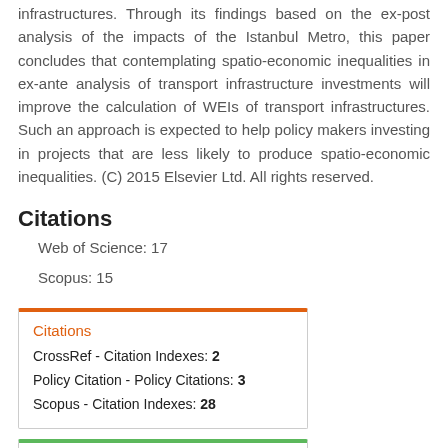also adds to the growing number of ex-post analysis of transport infrastructures. Through its findings based on the ex-post analysis of the impacts of the Istanbul Metro, this paper concludes that contemplating spatio-economic inequalities in ex-ante analysis of transport infrastructure investments will improve the calculation of WEIs of transport infrastructures. Such an approach is expected to help policy makers investing in projects that are less likely to produce spatio-economic inequalities. (C) 2015 Elsevier Ltd. All rights reserved.
Citations
Web of Science: 17
Scopus: 15
Citations
CrossRef - Citation Indexes: 2
Policy Citation - Policy Citations: 3
Scopus - Citation Indexes: 28